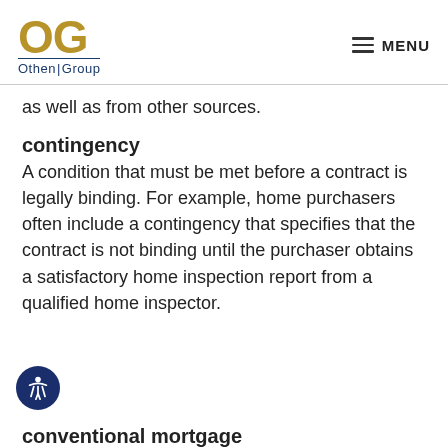OG Othen|Group — MENU
as well as from other sources.
contingency
A condition that must be met before a contract is legally binding. For example, home purchasers often include a contingency that specifies that the contract is not binding until the purchaser obtains a satisfactory home inspection report from a qualified home inspector.
conventional mortgage